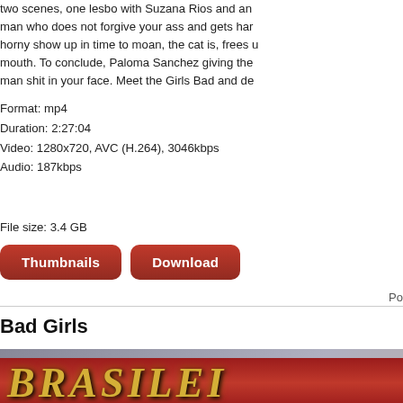two scenes, one lesbo with Suzana Rios and a man who does not forgive your ass and gets har horny show up in time to moan, the cat is, frees mouth. To conclude, Paloma Sanchez giving the man shit in your face. Meet the Girls Bad and de
Format: mp4
Duration: 2:27:04
Video: 1280x720, AVC (H.264), 3046kbps
Audio: 187kbps
File size: 3.4 GB
[Figure (other): Two red rounded buttons labeled 'Thumbnails' and 'Download']
Po
Bad Girls
[Figure (photo): Movie cover image showing 'BRASILEI...' text in gold lettering on a red banner, with a dark-haired woman below]